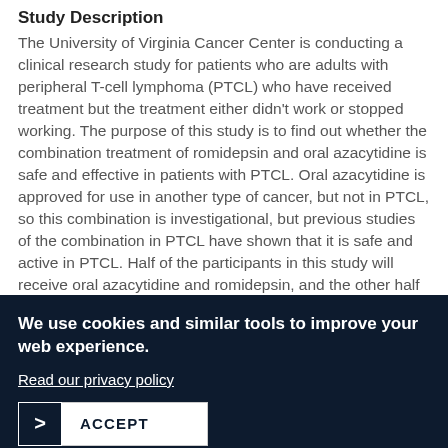Study Description
The University of Virginia Cancer Center is conducting a clinical research study for patients who are adults with peripheral T-cell lymphoma (PTCL) who have received treatment but the treatment either didn't work or stopped working. The purpose of this study is to find out whether the combination treatment of romidepsin and oral azacytidine is safe and effective in patients with PTCL. Oral azacytidine is approved for use in another type of cancer, but not in PTCL, so this combination is investigational, but previous studies of the combination in PTCL have shown that it is safe and active in PTCL. Half of the participants in this study will receive oral azacytidine and romidepsin, and the other half will receive a standard clinical care drug for PTCL. Treatment
We use cookies and similar tools to improve your web experience.
Read our privacy policy
ACCEPT